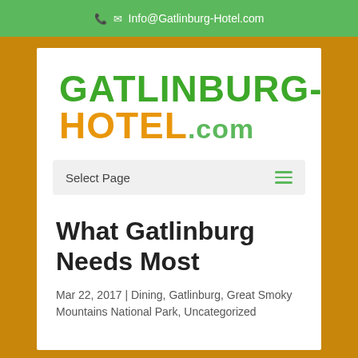✉ Info@Gatlinburg-Hotel.com
[Figure (logo): GATLINBURG-HOTEL.com logo in large bold text, GATLINBURG in green, HOTEL in orange, .com in smaller green]
Select Page
What Gatlinburg Needs Most
Mar 22, 2017 | Dining, Gatlinburg, Great Smoky Mountains National Park, Uncategorized